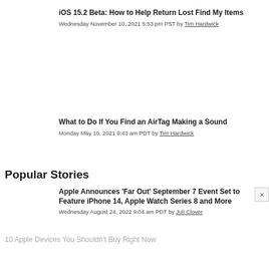iOS 15.2 Beta: How to Help Return Lost Find My Items
Wednesday November 10, 2021 5:53 pm PST by Tim Hardwick
What to Do If You Find an AirTag Making a Sound
Monday May 10, 2021 9:43 am PDT by Tim Hardwick
Popular Stories
Apple Announces 'Far Out' September 7 Event Set to Feature iPhone 14, Apple Watch Series 8 and More
Wednesday August 24, 2022 9:04 am PDT by Juli Clover
10 Apple Devices You Shouldn't Buy Right Now